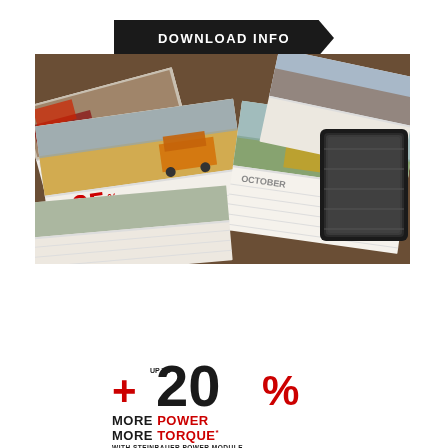DOWNLOAD INFO
[Figure (photo): Photograph of Steinbauer 2018 calendar pages spread on a wooden table, showing agricultural machinery images including combines and tractors in fields, with a phone or device visible. One calendar page shows '+25%' text. Calendar pages show months including MAY and OCTOBER.]
2018 STEINBAUER Ca
DOWNLOAD
+ UP TO 20% MORE POWER MORE TORQUE* WITH STEINBAUER POWER MODULE